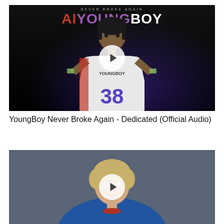[Figure (screenshot): Video thumbnail for YoungBoy Never Broke Again - Dedicated (Official Audio). Shows rap album art with the text 'AI YOUNGBOY' at top in red, purple and white letters. A person wearing jersey number 38 with 'YOUNGBOY' written on it is shown holding the jersey out. Dark background with purple glow. A white play button circle is overlaid in the center.]
YoungBoy Never Broke Again - Dedicated (Official Audio)
[Figure (screenshot): Video thumbnail showing a middle-aged woman with short blonde hair, wearing a blue top and red necklace, against a blue-grey background. A white play button circle is overlaid in the center.]